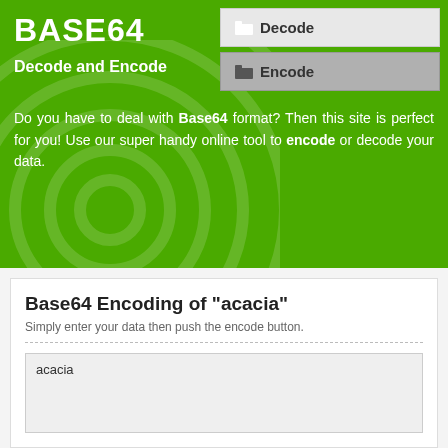BASE64
Decode and Encode
Do you have to deal with Base64 format? Then this site is perfect for you! Use our super handy online tool to encode or decode your data.
Base64 Encoding of "acacia"
Simply enter your data then push the encode button.
acacia